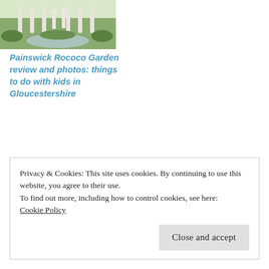[Figure (photo): Photo of Painswick Rococo Garden with white statues and a circular pond surrounded by greenery]
Painswick Rococo Garden review and photos: things to do with kids in Gloucestershire
CATEGORIES FREE UK DAYS OUT & EVENTS, GLOUCESTERSHIRE, UK, UK DAYS OUT & EVENTS
TAGS CHEESE ROLLING PHOTOS, COOPERS HILL CHEESE ROLLING, FREE EVENTS IN GLOUCESTERSHIRE, WHAT IS THE COOPERS HILL CHEESE ROLLING?
Privacy & Cookies: This site uses cookies. By continuing to use this website, you agree to their use.
To find out more, including how to control cookies, see here:
Cookie Policy
Close and accept